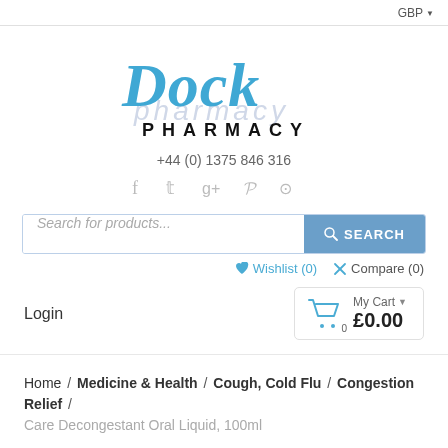GBP ▼
[Figure (logo): Dock Pharmacy logo in blue cursive script with 'PHARMACY' in bold black letters below]
+44 (0) 1375 846 316
[Figure (infographic): Social media icons: Facebook, Twitter, Google+, Pinterest, Instagram]
Search for products...   SEARCH
Wishlist (0)   Compare (0)
Login   My Cart ▼  0  £0.00
Home / Medicine & Health / Cough, Cold Flu / Congestion Relief / Care Decongestant Oral Liquid, 100ml